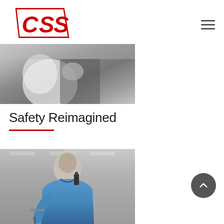CSS logo and navigation
[Figure (photo): Grayscale photo of a person in a white shirt holding their fist to their chin, shown from neck down]
Safety Reimagined
[Figure (photo): Grayscale photo of a young man in a blue jacket speaking into a walkie-talkie radio in what appears to be a transit or airport setting]